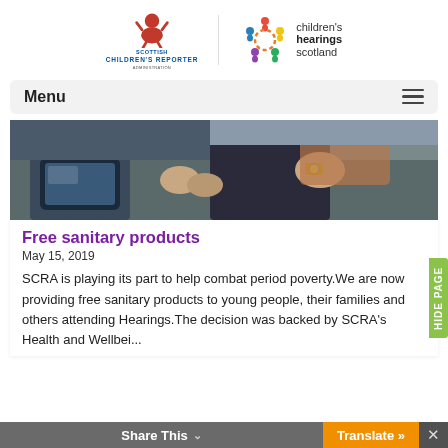[Figure (logo): Scottish Children's Reporter Administration logo with figure icon and text, alongside Children's Hearings Scotland logo with colorful circular figures]
Menu
[Figure (photo): Close-up photo of two people sitting outdoors, one holding a tablet/phone device, wearing casual clothes with a watch visible]
Free sanitary products
May 15, 2019
SCRA is playing its part to help combat period poverty.We are now providing free sanitary products to young people, their families and others attending Hearings.The decision was backed by SCRA's Health and Wellbei...